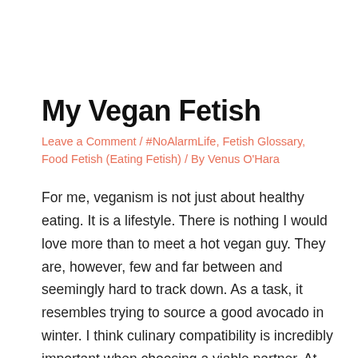My Vegan Fetish
Leave a Comment / #NoAlarmLife, Fetish Glossary, Food Fetish (Eating Fetish) / By Venus O'Hara
For me, veganism is not just about healthy eating. It is a lifestyle. There is nothing I would love more than to meet a hot vegan guy. They are, however, few and far between and seemingly hard to track down. As a task, it resembles trying to source a good avocado in winter. I think culinary compatibility is incredibly important when choosing a viable partner. At this point, I don't think I could imagine living with someone who...